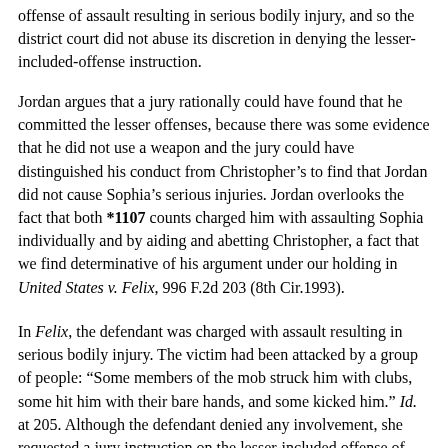offense of assault resulting in serious bodily injury, and so the district court did not abuse its discretion in denying the lesser-included-offense instruction.
Jordan argues that a jury rationally could have found that he committed the lesser offenses, because there was some evidence that he did not use a weapon and the jury could have distinguished his conduct from Christopher's to find that Jordan did not cause Sophia's serious injuries. Jordan overlooks the fact that both *1107 counts charged him with assaulting Sophia individually and by aiding and abetting Christopher, a fact that we find determinative of his argument under our holding in United States v. Felix, 996 F.2d 203 (8th Cir.1993).
In Felix, the defendant was charged with assault resulting in serious bodily injury. The victim had been attacked by a group of people: “Some members of the mob struck him with clubs, some hit him with their bare hands, and some kicked him.” Id. at 205. Although the defendant denied any involvement, she requested a jury instruction on the lesser-included offense of assault by